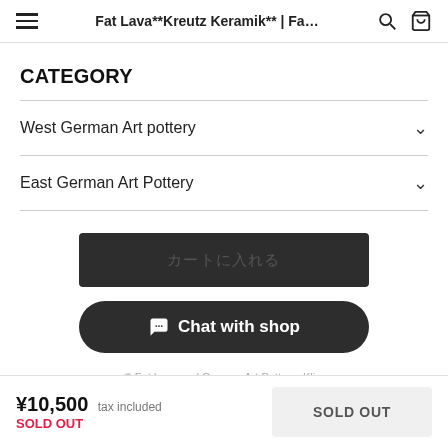Fat Lava**Kreutz Keramik** | Fa…
CATEGORY
West German Art pottery
East German Art Pottery
[Figure (screenshot): Dark add-to-cart button with Japanese text placeholder]
[Figure (screenshot): Chat with shop button with speech bubble icon]
© Fat Lava and German Art Pottery -Klis-
¥10,500 tax included SOLD OUT